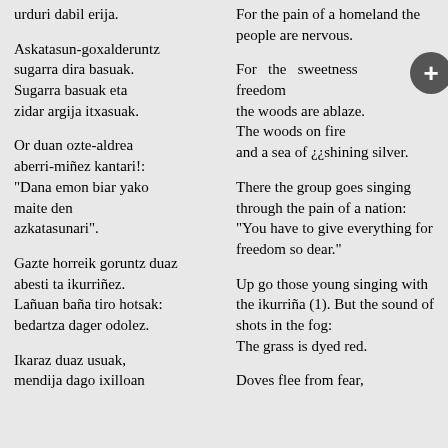urduri dabil erija.
Askatasun-goxalderuntz sugarra dira basuak. Sugarra basuak eta zidar argija itxasuak.
Or duan ozte-aldrea aberri-miñez kantari!: "Dana emon biar yako maite den azkatasunari".
Gazte horreik goruntz duaz abesti ta ikurriñez. Lañuan baña tiro hotsak: bedartza dager odolez.
Ikaraz duaz usuak, mendija dago ixilloan
For the pain of a homeland the people are nervous.
For the sweetness freedom the woods are ablaze. The woods on fire and a sea of ¿¿shining silver.
There the group goes singing through the pain of a nation: "You have to give everything for freedom so dear."
Up go those young singing with the ikurriña (1). But the sound of shots in the fog: The grass is dyed red.
Doves flee from fear,